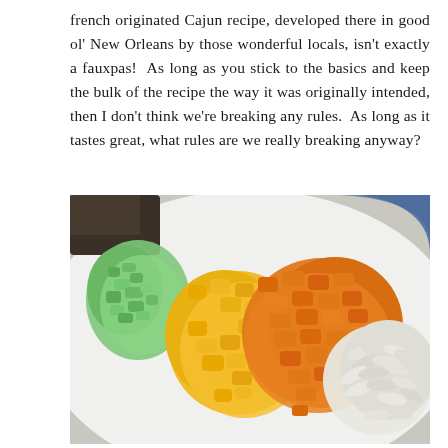french originated Cajun recipe, developed there in good ol' New Orleans by those wonderful locals, isn't exactly a fauxpas!  As long as you stick to the basics and keep the bulk of the recipe the way it was originally intended, then I don't think we're breaking any rules.  As long as it tastes great, what rules are we really breaking anyway?
[Figure (photo): Diced colorful vegetables on a white plate — chopped green celery on the left, yellow and orange bell peppers in the center, and sliced white garlic on the right.]